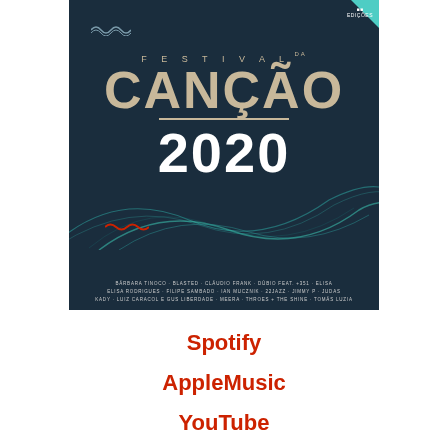[Figure (illustration): Album cover for Festival da Canção 2020. Dark navy background with the title 'FESTIVAL DA CANÇÃO 2020' in large tan/gold lettering. Teal wave decorations in lower portion. Red squiggle accent. Artist names listed at bottom: Bárbara Tinoco, Blasted, Cláudio Frank, Dúbio feat. +351, Elisa, Elisa Rodrigues, Filipe Sambado, Ian Mucznik, 22Jazz, Jimmy P, Judas, Kady, Luiz Caracol e Gus Liberdade, Meera, Throes + The Shine, Tomás Luzia.]
Spotify
AppleMusic
YouTube